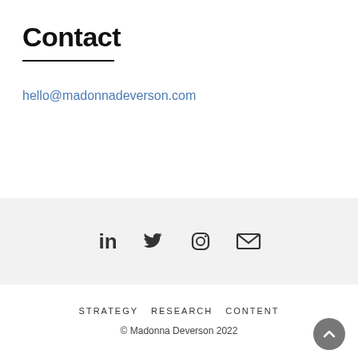Contact
hello@madonnadeverson.com
[Figure (infographic): Social media icons: LinkedIn, Twitter, Instagram, Email]
STRATEGY   RESEARCH   CONTENT
© Madonna Deverson 2022